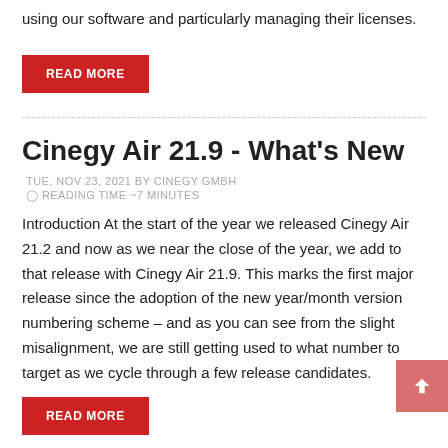using our software and particularly managing their licenses.
READ MORE
Cinegy Air 21.9 - What's New
TUE, NOV 23, 2021 BY CINEGY GMBH
⊙ READING TIME ~7 MINUTES
Introduction At the start of the year we released Cinegy Air 21.2 and now as we near the close of the year, we add to that release with Cinegy Air 21.9. This marks the first major release since the adoption of the new year/month version numbering scheme – and as you can see from the slight misalignment, we are still getting used to what number to target as we cycle through a few release candidates.
READ MORE